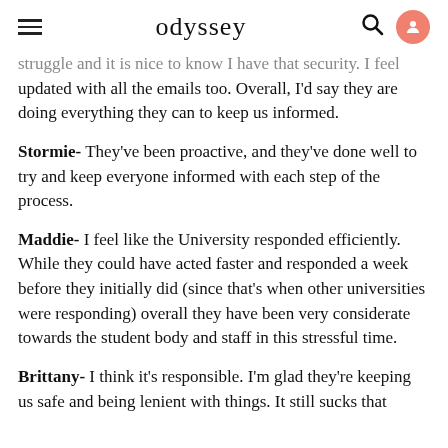odyssey
struggle and it is nice to know I have that security. I feel updated with all the emails too. Overall, I'd say they are doing everything they can to keep us informed.
Stormie- They've been proactive, and they've done well to try and keep everyone informed with each step of the process.
Maddie- I feel like the University responded efficiently. While they could have acted faster and responded a week before they initially did (since that's when other universities were responding) overall they have been very considerate towards the student body and staff in this stressful time.
Brittany- I think it's responsible. I'm glad they're keeping us safe and being lenient with things. It still sucks that